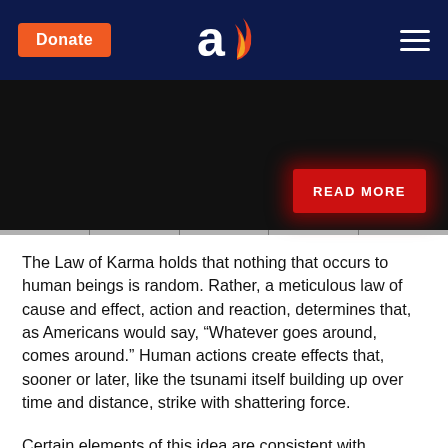[Figure (logo): Aish.com website header with Donate button, logo (stylized 'a' with flame), and hamburger menu on dark navy background]
[Figure (photo): Dark black image area with a red 'READ MORE' button in the lower right corner with a red glow effect]
The Law of Karma holds that nothing that occurs to human beings is random. Rather, a meticulous law of cause and effect, action and reaction, determines that, as Americans would say, “Whatever goes around, comes around.” Human actions create effects that, sooner or later, like the tsunami itself building up over time and distance, strike with shattering force.
Certain elements of this idea are consistent with Judaism. Certainly, there is no randomness in the